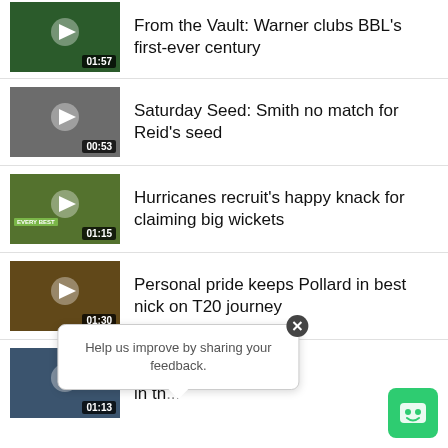[Figure (screenshot): Video thumbnail for 'From the Vault: Warner clubs BBL first-ever century', duration 01:57]
From the Vault: Warner clubs BBL's first-ever century
[Figure (screenshot): Video thumbnail for 'Saturday Seed: Smith no match for Reid's seed', duration 00:53]
Saturday Seed: Smith no match for Reid's seed
[Figure (screenshot): Video thumbnail for 'Hurricanes recruit's happy knack for claiming big wickets', duration 01:15, has EVERY BEST badge]
Hurricanes recruit's happy knack for claiming big wickets
[Figure (screenshot): Video thumbnail for 'Personal pride keeps Pollard in best nick on T20 journey', duration 01:30]
Personal pride keeps Pollard in best nick on T20 journey
[Figure (screenshot): Video thumbnail for partially visible article, duration 01:13]
Satu... ...s Sachin in th...